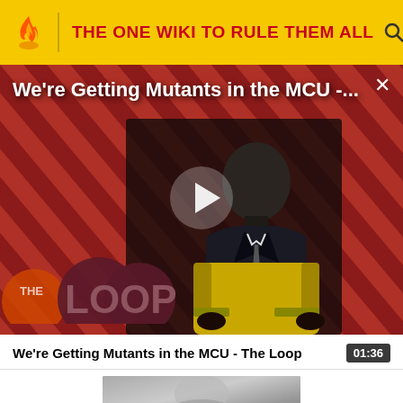THE ONE WIKI TO RULE THEM ALL
[Figure (screenshot): Video player thumbnail showing a bald man in a suit seated in a yellow chair, with diagonal red/pink stripe background and The Loop logo overlay. Play button visible in center. Title overlay reads: We're Getting Mutants in the MCU -...]
We're Getting Mutants in the MCU - The Loop
01:36
[Figure (screenshot): Thumbnail of next video showing a blurred figure]
DOMINIONS	All of Arda, then later Valinor and Aman